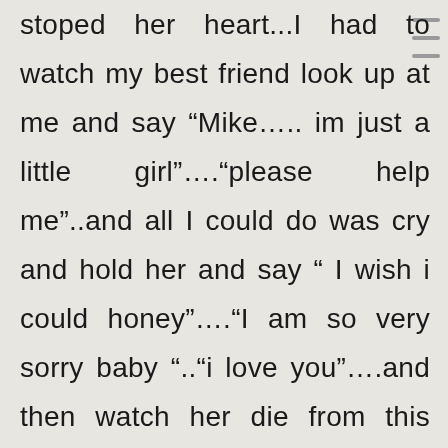stoped her heart...I had to watch my best friend look up at me and say “Mike….. im just a little girl”….“please help me”..and all I could do was cry and hold her and say “ I wish i could honey”….“I am so very sorry baby “..“i love you”….and then watch her die from this rotten twisted scourge of a disease……….But I wanted to ask you….and forgive